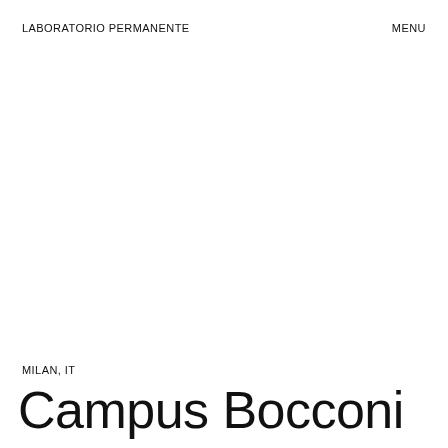LABORATORIO PERMANENTE
MENU
MILAN, IT
Campus Bocconi